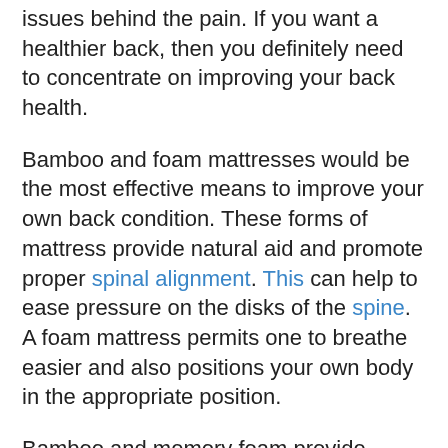issues behind the pain. If you want a healthier back, then you definitely need to concentrate on improving your back health.
Bamboo and foam mattresses would be the most effective means to improve your own back condition. These forms of mattress provide natural aid and promote proper spinal alignment. This can help to ease pressure on the disks of the spine. A foam mattress permits one to breathe easier and also positions your own body in the appropriate position.
Bamboo and memory foam provide exceptional support systems as they are produced from an extremely elastic foam which adapts to the user's body. Bamboo